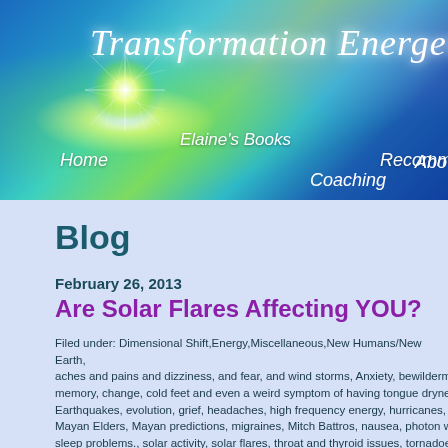[Figure (screenshot): Website header with blue-green gradient background and starburst light effect]
Transformation Energetics™
Home  Elaine's Books  Recommended  Coaching  Abo
Blog
February 26, 2013
Are Solar Flares Affecting YOU?
Filed under: Dimensional Shift,Energy,Miscellaneous,New Humans/New Earth,  aches and pains and dizziness, and fear, and wind storms, Anxiety, bewilderment, memory, change, cold feet and even a weird symptom of having tongue dryness, Earthquakes, evolution, grief, headaches, high frequency energy, hurricanes, Mayan Elders, Mayan predictions, migraines, Mitch Battros, nausea, photon w, sleep problems., solar activity, solar flares, throat and thyroid issues, tornadoes, Elaine @ 4:22 AM
A crossroads for humanity....
Thank you Heather Carlini, for this fascinating article on Solar Fl